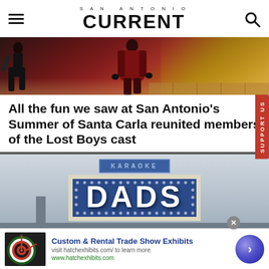SAN ANTONIO CURRENT
[Figure (photo): Partial photo of people in dark/red costumes at a Los Boys themed event, cropped to show torsos and legs]
All the fun we saw at San Antonio's Summer of Santa Carla reunited members of the Lost Boys cast
[Figure (photo): Photo of a 'Karaoke Dads' sign on a building against a cloudy sky]
[Figure (other): Advertisement: Custom & Rental Trade Show Exhibits — visit hatchexhibits.com/ to learn more — www.hatchexhibits.com]